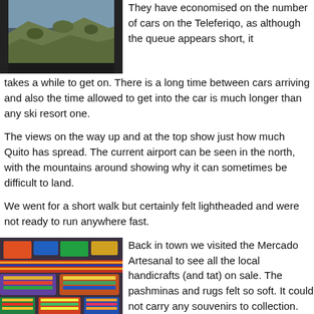[Figure (photo): Photo of hillside with rocks and vegetation seen through a gondola cable car window]
They have economised on the number of cars on the Teleferiqo, as although the queue appears short, it takes a while to get on. There is a long time between cars arriving and also the time allowed to get into the car is much longer than any ski resort one.
The views on the way up and at the top show just how much Quito has spread. The current airport can be seen in the north, with the mountains around showing why it can sometimes be difficult to land.
We went for a short walk but certainly felt lightheaded and were not ready to run anywhere fast.
[Figure (photo): Photo of colorful woven textiles, blankets, ponchos and handicrafts on display at Mercado Artesanal market stall]
Back in town we visited the Mercado Artesanal to see all the local handicrafts (and tat) on sale. The pashminas and rugs felt so soft. It could not carry any souvenirs to collection.